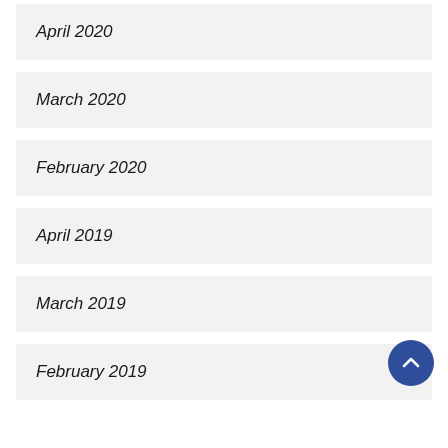April 2020
March 2020
February 2020
April 2019
March 2019
February 2019